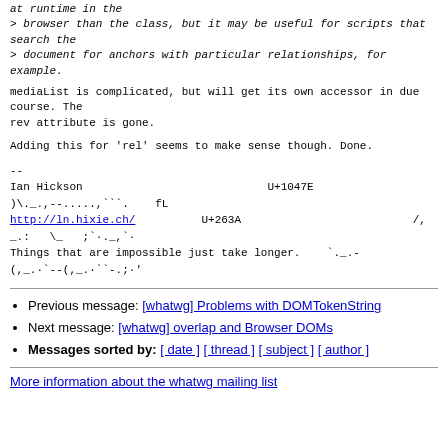at runtime in the
> browser than the class, but it may be useful for scripts that search the
> document for anchors with particular relationships, for example.
mediaList is complicated, but will get its own accessor in due course. The
rev attribute is gone.
Adding this for 'rel' seems to make sense though. Done.
--
Ian Hickson                            U+1047E
)\._.,--.....,'``..    fL
http://ln.hixie.ch/          U+263A                          /,
_.:    _\ ;`·._,`·
Things that are impossible just take longer.    `._.-
(,_.·`--(,_.·``-.;·'
Previous message: [whatwg] Problems with DOMTokenString
Next message: [whatwg] overlap and Browser DOMs
Messages sorted by: [ date ] [ thread ] [ subject ] [ author ]
More information about the whatwg mailing list